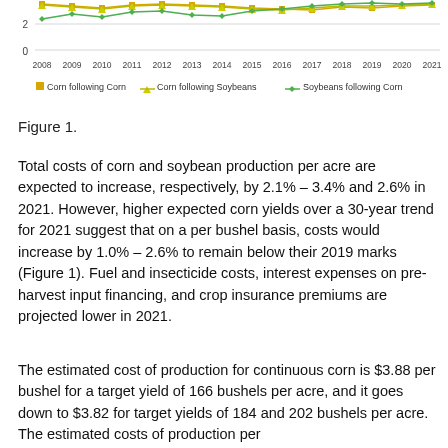[Figure (line-chart): ]
Figure 1.
Total costs of corn and soybean production per acre are expected to increase, respectively, by 2.1% – 3.4% and 2.6% in 2021. However, higher expected corn yields over a 30-year trend for 2021 suggest that on a per bushel basis, costs would increase by 1.0% – 2.6% to remain below their 2019 marks (Figure 1). Fuel and insecticide costs, interest expenses on pre-harvest input financing, and crop insurance premiums are projected lower in 2021.
The estimated cost of production for continuous corn is $3.88 per bushel for a target yield of 166 bushels per acre, and it goes down to $3.82 for target yields of 184 and 202 bushels per acre. The estimated costs of production per